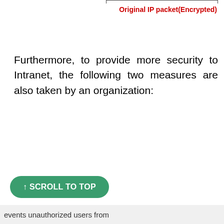Original IP packet(Encrypted)
Furthermore, to provide more security to Intranet, the following two measures are also taken by an organization:
↑ SCROLL TO TOP
events unauthorized users from